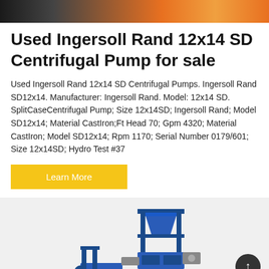[Figure (photo): Top banner image strip showing industrial equipment in orange/dark tones]
Used Ingersoll Rand 12x14 SD Centrifugal Pump for sale
Used Ingersoll Rand 12x14 SD Centrifugal Pumps. Ingersoll Rand SD12x14. Manufacturer: Ingersoll Rand. Model: 12x14 SD. SplitCaseCentrifugal Pump; Size 12x14SD; Ingersoll Rand; Model SD12x14; Material CastIron;Ft Head 70; Gpm 4320; Material CastIron; Model SD12x14; Rpm 1170; Serial Number 0179/601; Size 12x14SD; Hydro Test #37
[Figure (photo): Photo of a large blue industrial centrifugal pump/equipment on a frame, shown against a light grey background]